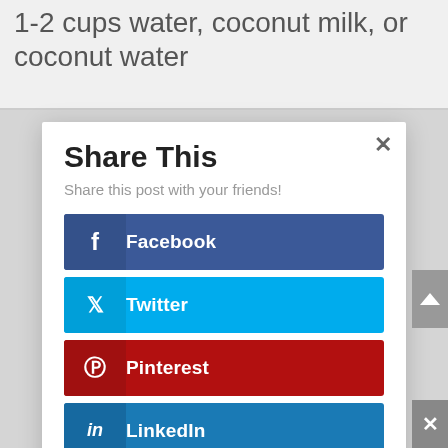1-2 cups water, coconut milk, or coconut water
Share This
Share this post with your friends!
Facebook
Twitter
Pinterest
LinkedIn
Google+
Digg